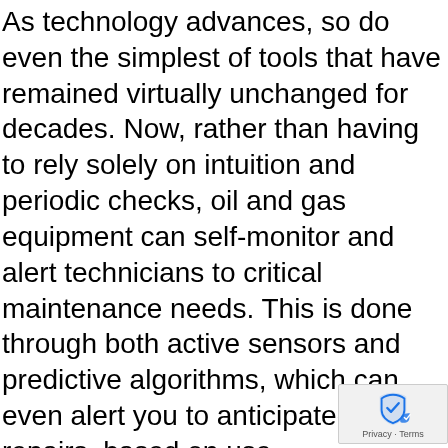As technology advances, so do even the simplest of tools that have remained virtually unchanged for decades. Now, rather than having to rely solely on intuition and periodic checks, oil and gas equipment can self-monitor and alert technicians to critical maintenance needs. This is done through both active sensors and predictive algorithms, which can even alert you to anticipated repairs, based on use.
Growing and adapting are important parts of running a successful operation. Being prepared will help ensure you remain a leader of the pack and serve as the go-to resource for new business in your industry.